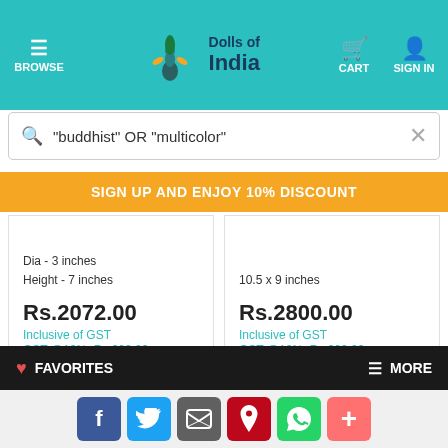BROWSE | Dolls of India | CART | SIGN IN
"buddhist" OR "multicolor"
SIGN UP AND ENJOY 10% DISCOUNT
Dia - 3 inches
Height - 7 inches
Rs.2072.00
Inclusive of GST
GST @12%: Rs.222.00
10.5 x 9 inches
Rs.2800.00
Inclusive of GST
GST @12%: Rs.300.00
[Figure (photo): Scroll painting product image]
[Figure (photo): Buddhist monk figurine / doll in red robe]
FAVORITES | MORE
f | Twitter | Email | Pinterest | WhatsApp | +